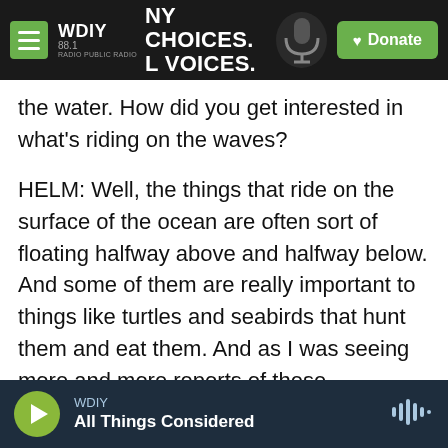WDIY 88.1 — MANY CHOICES. LOCAL VOICES. | Donate
the water. How did you get interested in what's riding on the waves?
HELM: Well, the things that ride on the surface of the ocean are often sort of floating halfway above and halfway below. And some of them are really important to things like turtles and seabirds that hunt them and eat them. And as I was seeing more and more reports of these organisms kind of washing up on shore, I got really curious about where these habitats actually occurred in the ocean and discovered that, really, nobody knows. These animals are also being impacted by human
WDIY — All Things Considered